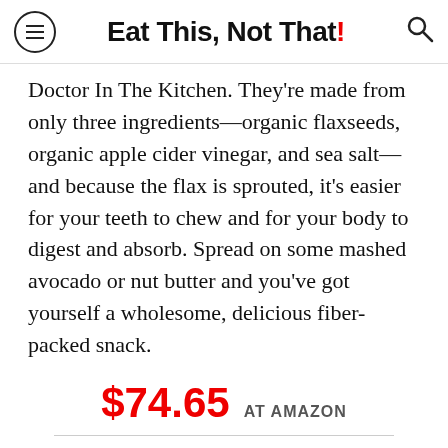Eat This, Not That!
Doctor In The Kitchen. They're made from only three ingredients—organic flaxseeds, organic apple cider vinegar, and sea salt—and because the flax is sprouted, it's easier for your teeth to chew and for your body to digest and absorb. Spread on some mashed avocado or nut butter and you've got yourself a wholesome, delicious fiber-packed snack.
$74.65 AT AMAZON
BUY NOW